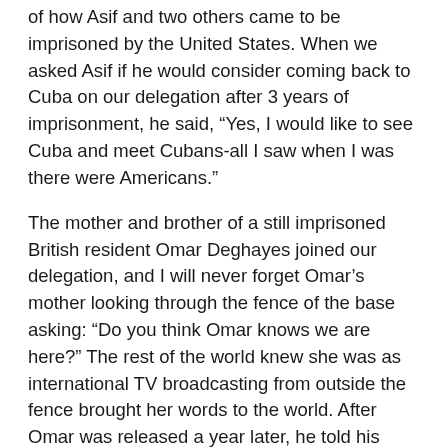of how Asif and two others came to be imprisoned by the United States. When we asked Asif if he would consider coming back to Cuba on our delegation after 3 years of imprisonment, he said, “Yes, I would like to see Cuba and meet Cubans-all I saw when I was there were Americans.”
The mother and brother of a still imprisoned British resident Omar Deghayes joined our delegation, and I will never forget Omar’s mother looking through the fence of the base asking: “Do you think Omar knows we are here?” The rest of the world knew she was as international TV broadcasting from outside the fence brought her words to the world. After Omar was released a year later, he told his mother that a guard told him that his mother had been outside the prison, but Omar, not surprisingly, didn’t know whether to believe the guard or not.
After nearly 14 years of imprisonment in Guantanamo prison, 112 prisoners remain. 52 of them were cleared for release years ago and are still held, and